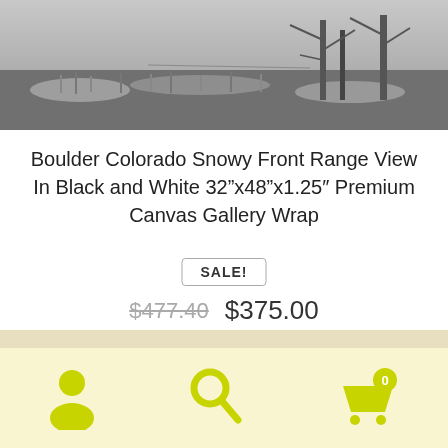[Figure (photo): Black and white photo of a snowy Colorado front range landscape with trees and grassland, cropped at top of page]
Boulder Colorado Snowy Front Range View In Black and White 32”x48”x1.25″ Premium Canvas Gallery Wrap
SALE!
$477.40  $375.00
Add to cart